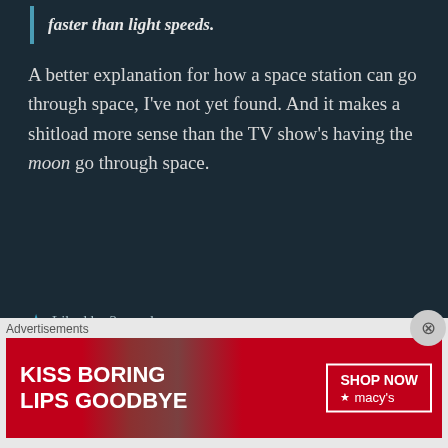faster than light speeds.
A better explanation for how a space station can go through space, I've not yet found. And it makes a shitload more sense than the TV show's having the moon go through space.
★ Liked by 2 people
Pingback: Remembering Dave Prowse, the 'force' behind Darth Vader (1935-2020)... – Musings of a Middle-Aged
[Figure (other): Advertisement banner: 'KISS BORING LIPS GOODBYE' with SHOP NOW button and Macys logo on red background with woman's face]